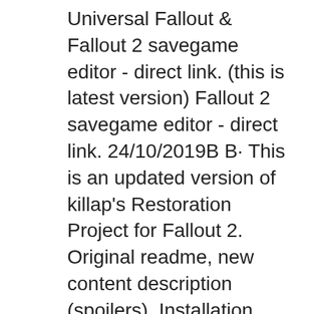Universal Fallout & Fallout 2 savegame editor - direct link. (this is latest version) Fallout 2 savegame editor - direct link. 24/10/2019В В· This is an updated version of killap's Restoration Project for Fallout 2. Original readme, new content description (spoilers). Installation. Start with a clean humongous installation of the game. Download the latest RPU release. Extract the archive into the main game directory, overwriting files when asked. Launch rpu-install.bat (or rpu
Pour l'installer, extraire l'archive et copier son contenu dans le rГ©pertoire de Fallout 2 (en Г©crasant les fichiers prГ©cГ©dents). Description : Le